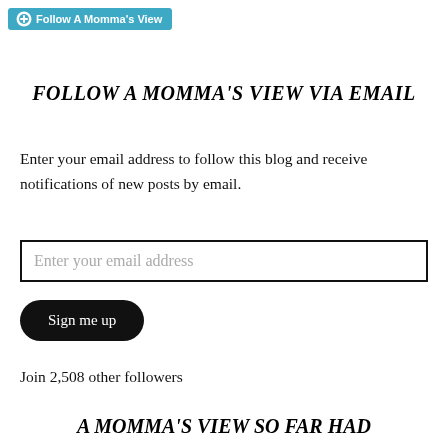[Figure (logo): WordPress follow button widget — teal/blue rounded rectangle with WordPress logo icon and text 'Follow A Momma's View']
FOLLOW A MOMMA'S VIEW VIA EMAIL
Enter your email address to follow this blog and receive notifications of new posts by email.
Enter your email address
Sign me up
Join 2,508 other followers
A MOMMA'S VIEW SO FAR HAD